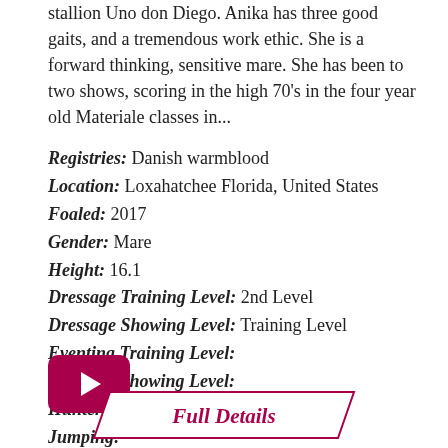stallion Uno don Diego. Anika has three good gaits, and a tremendous work ethic. She is a forward thinking, sensitive mare. She has been to two shows, scoring in the high 70's in the four year old Materiale classes in...
Registries: Danish warmblood
Location: Loxahatchee Florida, United States
Foaled: 2017
Gender: Mare
Height: 16.1
Dressage Training Level: 2nd Level
Dressage Showing Level: Training Level
Eventing Training Level:
Eventing Showing Level:
Hunters:
Jumping:
[Figure (other): Play button (dark red/maroon rounded rectangle with white triangle play icon)]
Full Details